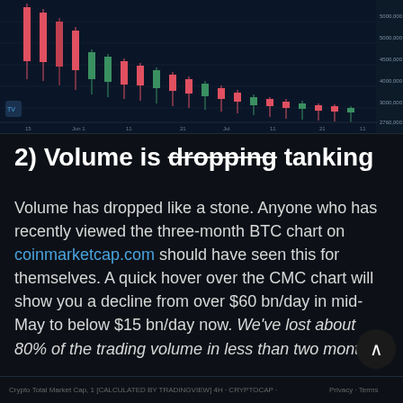[Figure (continuous-plot): Candlestick/volume chart screenshot showing Bitcoin or crypto market data on a dark blue background, with red and green candlesticks and price levels on the right axis.]
2) Volume is dropping tanking
Volume has dropped like a stone. Anyone who has recently viewed the three-month BTC chart on coinmarketcap.com should have seen this for themselves. A quick hover over the CMC chart will show you a decline from over $60 bn/day in mid-May to below $15 bn/day now. We've lost about 80% of the trading volume in less than two months!
Crypto Total Market Cap, 1 [CALCULATED BY TRADINGVIEW] 4H · CRYPTOCAP · ... Privacy · Terms